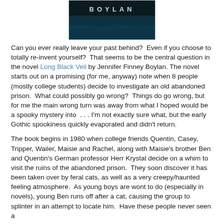[Figure (photo): Book cover image showing 'BOYLAN' text on a dark teal/black background]
Can you ever really leave your past behind?  Even if you choose to totally re-invent yourself?  That seems to be the central question in the novel Long Black Veil by Jennifer Finney Boylan. The novel starts out on a promising (for me, anyway) note when 8 people (mostly college students) decide to investigate an old abandoned prison.  What could possibly go wrong?  Things do go wrong, but for me the main wrong turn was away from what I hoped would be a spooky mystery into  . . . I'm not exactly sure what, but the early Gothic spookiness quickly evaporated and didn't return.
The book begins in 1980 when college friends Quentin, Casey, Tripper, Wailer, Maisie and Rachel, along with Maisie's brother Ben and Quentin's German professor Herr Krystal decide on a whim to visit the ruins of the abandoned prison.  They soon discover it has been taken over by feral cats, as well as a very creepy/haunted feeling atmosphere.  As young boys are wont to do (especially in novels), young Ben runs off after a cat, causing the group to splinter in an attempt to locate him.  Have these people never seen a